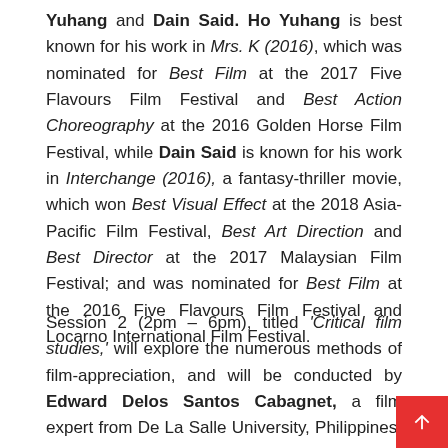Yuhang and Dain Said. Ho Yuhang is best known for his work in Mrs. K (2016), which was nominated for Best Film at the 2017 Five Flavours Film Festival and Best Action Choreography at the 2016 Golden Horse Film Festival, while Dain Said is known for his work in Interchange (2016), a fantasy-thriller movie, which won Best Visual Effect at the 2018 Asia-Pacific Film Festival, Best Art Direction and Best Director at the 2017 Malaysian Film Festival; and was nominated for Best Film at the 2016 Five Flavours Film Festival and Locarno International Film Festival.
Session 2 (2pm – 6pm), titled 'Critical film studies,' will explore the numerous methods of film-appreciation, and will be conducted by Edward Delos Santos Cabagnet, a film expert from De La Salle University, Philippines, has been on the jury for a host of international film